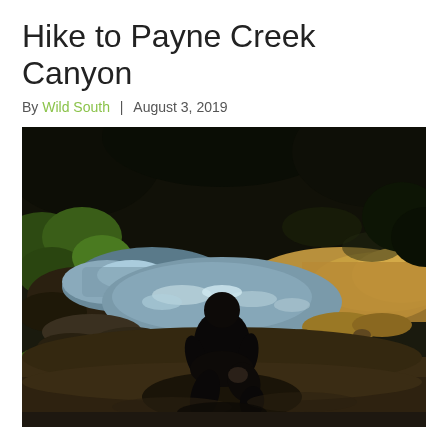Hike to Payne Creek Canyon
By Wild South  |  August 3, 2019
[Figure (photo): A person crouching near a rocky creek in a forested canyon. The silhouette of a hiker kneels at the edge of a shallow, sparkling stream surrounded by rocks, dirt, and green vegetation in dappled forest light.]